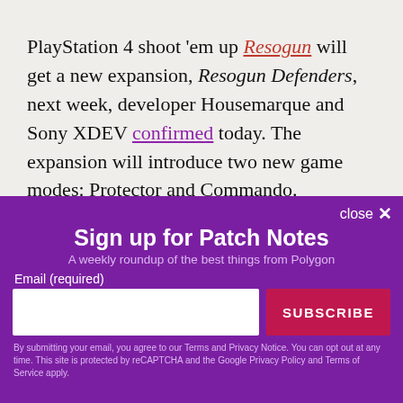PlayStation 4 shoot 'em up Resogun will get a new expansion, Resogun Defenders, next week, developer Housemarque and Sony XDEV confirmed today. The expansion will introduce two new game modes: Protector and Commando.
close ✕
Sign up for Patch Notes
A weekly roundup of the best things from Polygon
Email (required)
SUBSCRIBE
By submitting your email, you agree to our Terms and Privacy Notice. You can opt out at any time. This site is protected by reCAPTCHA and the Google Privacy Policy and Terms of Service apply.